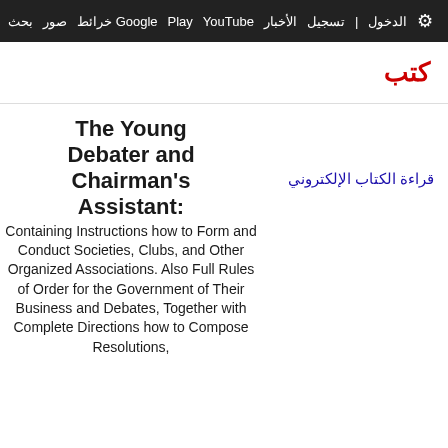بحث صور خرائط Google Play YouTube الأخبار تسجيل الدخول الإعدادات
كتب
The Young Debater and Chairman's Assistant:
Containing Instructions how to Form and Conduct Societies, Clubs, and Other Organized Associations. Also Full Rules of Order for the Government of Their Business and Debates, Together with Complete Directions how to Compose Resolutions,
قراءة الكتاب الإلكتروني